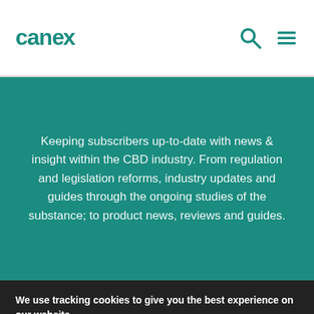canex
Keeping subscribers up-to-date with news & insight within the CBD industry. From regulation and legislation reforms, industry updates and guides through the ongoing studies of the substance; to product news, reviews and guides.
We use tracking cookies to give you the best experience on our website.
You can find out more about which cookies we are using or switch them off in cookie settings.
Accept